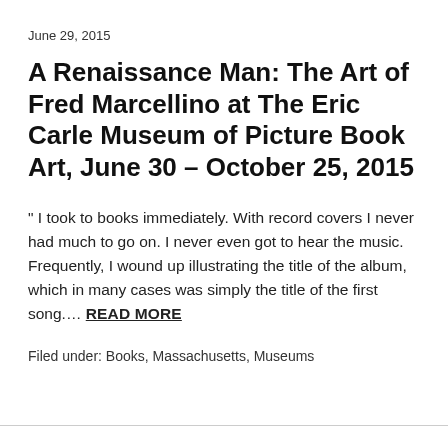June 29, 2015
A Renaissance Man: The Art of Fred Marcellino at The Eric Carle Museum of Picture Book Art, June 30 – October 25, 2015
" I took to books immediately. With record covers I never had much to go on. I never even got to hear the music. Frequently, I wound up illustrating the title of the album, which in many cases was simply the title of the first song.... READ MORE
Filed under: Books, Massachusetts, Museums